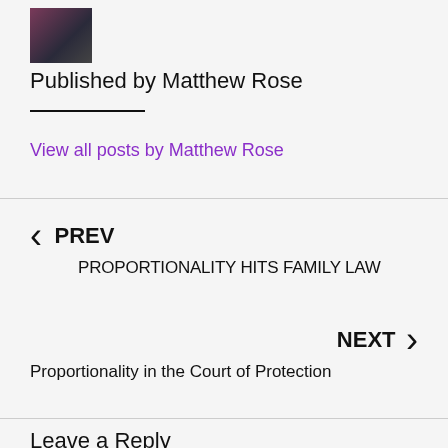[Figure (photo): Small author photo of Matthew Rose in a suit and tie]
Published by Matthew Rose
View all posts by Matthew Rose
PREV
PROPORTIONALITY HITS FAMILY LAW
NEXT
Proportionality in the Court of Protection
Leave a Reply